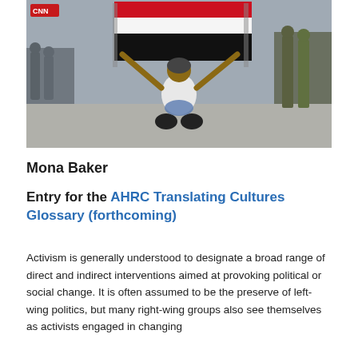[Figure (photo): A man kneeling on the ground holding up a flag (red, white, and black — the Yemeni flag), with military/security personnel and other people visible in the background.]
Mona Baker
Entry for the AHRC Translating Cultures Glossary (forthcoming)
Activism is generally understood to designate a broad range of direct and indirect interventions aimed at provoking political or social change. It is often assumed to be the preserve of left-wing politics, but many right-wing groups also see themselves as activists engaged in changing